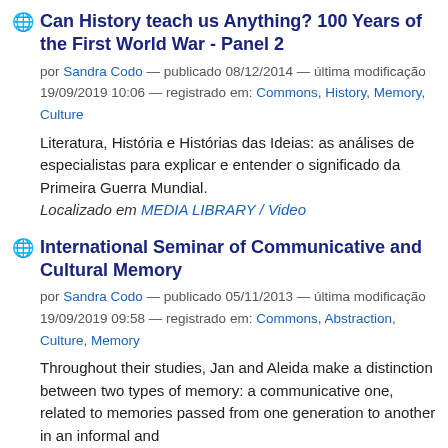Can History teach us Anything? 100 Years of the First World War - Panel 2
por Sandra Codo — publicado 08/12/2014 — última modificação 19/09/2019 10:06 — registrado em: Commons, History, Memory, Culture
Literatura, História e Histórias das Ideias: as análises de especialistas para explicar e entender o significado da Primeira Guerra Mundial. Localizado em MEDIA LIBRARY / Video
International Seminar of Communicative and Cultural Memory
por Sandra Codo — publicado 05/11/2013 — última modificação 19/09/2019 09:58 — registrado em: Commons, Abstraction, Culture, Memory
Throughout their studies, Jan and Aleida make a distinction between two types of memory: a communicative one, related to memories passed from one generation to another in an informal and